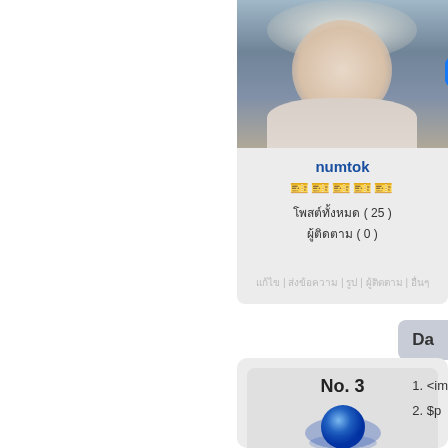[Figure (screenshot): Profile card showing user 'numtok' with photo of person with white/silver hair in white shirt, rank icons, stats showing 25 posts and 0 followers, nav links at bottom. Facebook Share button overlay showing 0 shares. Partially cropped on right showing 'Da' button.]
numtok
🎫🎫🎫🎫🎫
โพสต์ทั้งหมด ( 25 )
ผู้ติดตาม ( 0 )
[Figure (screenshot): Bottom card showing 'No. 3' title with a blue donut/sphere image, and list items starting with '1. <im' and '2. $p' (partially cropped)]